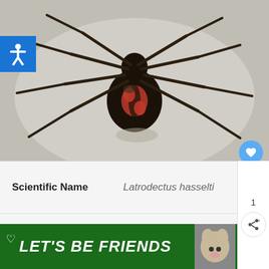[Figure (photo): Close-up photograph of a black widow spider (Latrodectus hasselti) from above, showing its glossy black body with red markings on the abdomen, against a light grey/white background. The spider has long dark legs spread outward.]
| Scientific Name | Latrodectus hasselti |
| Classification | Arachnid |
[Figure (screenshot): Advertisement banner at the bottom: dark green background with white bold italic text 'LET'S BE FRIENDS', a husky dog image, close button X, heart icon, and a logo on the right.]